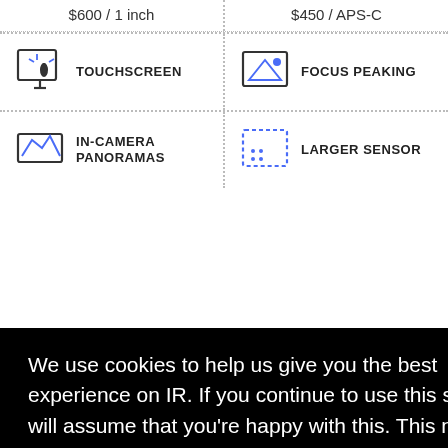$600 / 1 inch
$450 / APS-C
[Figure (icon): Touchscreen icon - hand touching screen]
TOUCHSCREEN
[Figure (icon): Focus peaking icon - landscape with mountain]
FOCUS PEAKING
[Figure (icon): In-camera panoramas icon - wide landscape]
IN-CAMERA PANORAMAS
[Figure (icon): Larger sensor icon - dotted border rectangle]
LARGER SENSOR
We use cookies to help us give you the best experience on IR. If you continue to use this site, we will assume that you're happy with this. This notice is required by recent EU rules, and IR is read globally, so we need to keep the bureaucrats off our case!
Learn more
Got it!